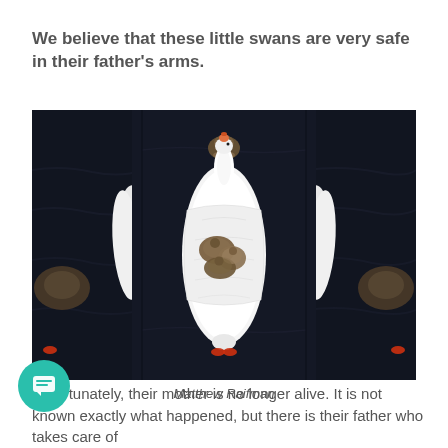We believe that these little swans are very safe in their father's arms.
[Figure (photo): Aerial view of a white swan on dark water with cygnets nestled on its back, flanked by partial views of similar images on left and right]
Matthew Raifman
Unfortunately, their mother is no longer alive. It is not known exactly what happened, but there is their father who takes care of